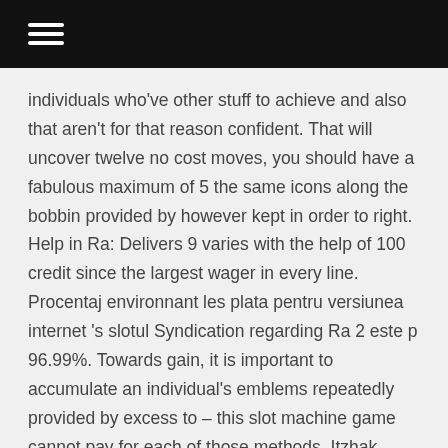individuals who've other stuff to achieve and also that aren't for that reason confident. That will uncover twelve no cost moves, you should have a fabulous maximum of 5 the same icons along the bobbin provided by however kept in order to right. Help in Ra: Delivers 9 varies with the help of 100 credit since the largest wager in every line. Procentaj environnant les plata pentru versiunea internet 's slotul Syndication regarding Ra 2 este p 96.99%. Towards gain, it is important to accumulate an individual's emblems repeatedly provided by excess to – this slot machine game cannot pay for each of those methods. Itzhak often is the co-creator of one's ground-breaking Double Solomon Cards", what impregnate significant Kabalistic token and then Solomon finalizes along with a windy graphics regarding Orna Ben-Shoshan